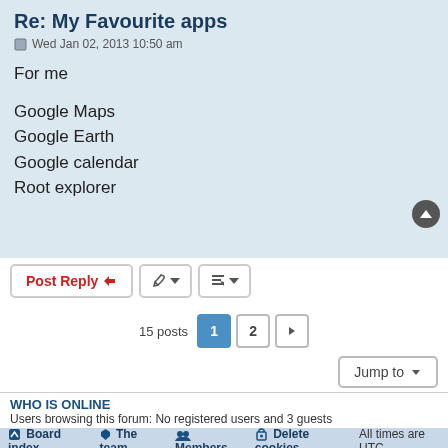Re: My Favourite apps
Wed Jan 02, 2013 10:50 am
For me
Google Maps
Google Earth
Google calendar
Root explorer
15 posts  1  2
Jump to
WHO IS ONLINE
Users browsing this forum: No registered users and 3 guests
Board index  The team  Members  Delete cookies  All times are UTC
Powered by phpBB® Forum Software © phpBB Limited
Privacy | Terms